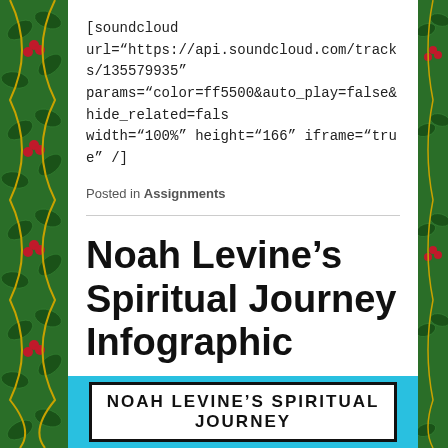[soundcloud url="https://api.soundcloud.com/tracks/135579935" params="color=ff5500&auto_play=false&hide_related=fals width="100%" height="166" iframe="true" /]
Posted in Assignments
Noah Levine’s Spiritual Journey Infographic
Posted on February 12, 2014 by Lisa Byrnes
[Figure (infographic): Noah Levine's Spiritual Journey infographic header, white label on cyan/blue background with bold uppercase text]